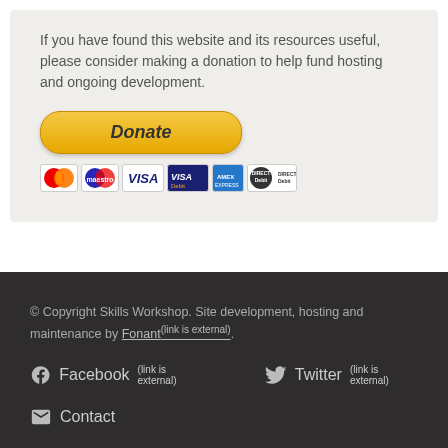If you have found this website and its resources useful, please consider making a donation to help fund hosting and ongoing development.
[Figure (other): PayPal Donate button with payment card icons (MasterCard, Maestro, Visa, Visa Debit, American Express, Direct Debit)]
© Copyright Skills Workshop. Site development, hosting and maintenance by Fonant. Facebook Twitter Contact